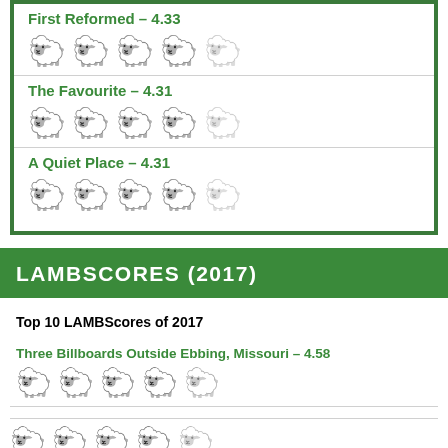First Reformed – 4.33
The Favourite – 4.31
A Quiet Place – 4.31
LAMBSCORES (2017)
Top 10 LAMBScores of 2017
Three Billboards Outside Ebbing, Missouri – 4.58